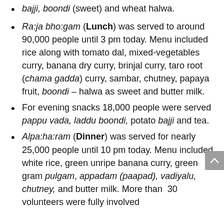bajji, boondi (sweet) and wheat halwa.
Ra:ja bho:gam (Lunch) was served to around 90,000 people until 3 pm today. Menu included rice along with tomato dal, mixed-vegetables curry, banana dry curry, brinjal curry, taro root (chama gadda) curry, sambar, chutney, papaya fruit, boondi – halwa as sweet and butter milk.
For evening snacks 18,000 people were served pappu vada, laddu boondi, potato bajji and tea.
Alpa:ha:ram (Dinner) was served for nearly 25,000 people until 10 pm today. Menu included white rice, green unripe banana curry, green gram pulgam, appadam (paapad), vadiyalu, chutney, and butter milk. More than 30 volunteers were fully involved